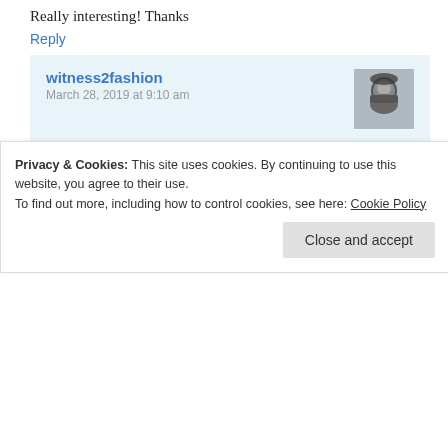Really interesting! Thanks
Reply
witness2fashion
March 28, 2019 at 9:10 am
I love backstage stories — they make theatre history so much more fun. I would share more of them if I could remember the sources, but after collecting anecdotes for 50 years, "not bl**dy likely!"
Reply
Privacy & Cookies: This site uses cookies. By continuing to use this website, you agree to their use.
To find out more, including how to control cookies, see here: Cookie Policy
Close and accept